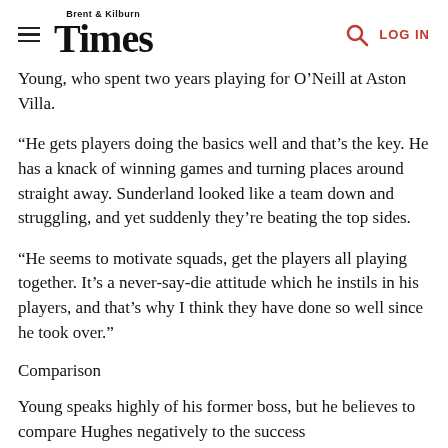Brent & Kilburn Times | LOG IN
Young, who spent two years playing for O'Neill at Aston Villa.
“He gets players doing the basics well and that’s the key. He has a knack of winning games and turning places around straight away. Sunderland looked like a team down and struggling, and yet suddenly they’re beating the top sides.
“He seems to motivate squads, get the players all playing together. It’s a never-say-die attitude which he instils in his players, and that’s why I think they have done so well since he took over.”
Comparison
Young speaks highly of his former boss, but he believes to compare Hughes negatively to the success